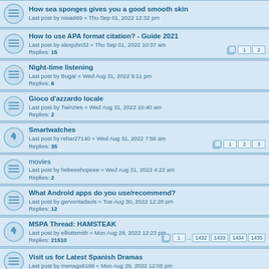How sea sponges gives you a good smooth skin
Last post by nisia669 « Thu Sep 01, 2022 12:32 pm
How to use APA format citation? - Guide 2021
Last post by alexjohn32 « Thu Sep 01, 2022 10:37 am
Replies: 15
Night-time listening
Last post by Bugar « Wed Aug 31, 2022 9:11 pm
Replies: 6
Gioco d'azzardo locale
Last post by Twinzies « Wed Aug 31, 2022 10:40 am
Replies: 2
Smartwatches
Last post by rehar27140 « Wed Aug 31, 2022 7:56 am
Replies: 35
movies
Last post by hebeeehopeee « Wed Aug 31, 2022 4:22 am
Replies: 2
What Android apps do you use/recommend?
Last post by gervontadavis « Tue Aug 30, 2022 12:28 pm
Replies: 12
MSPA Thread: HAMSTEAK
Last post by elliottsmith « Mon Aug 29, 2022 12:23 pm
Replies: 21510
Visit us for Latest Spanish Dramas
Last post by menaga6169 « Mon Aug 29, 2022 12:05 pm